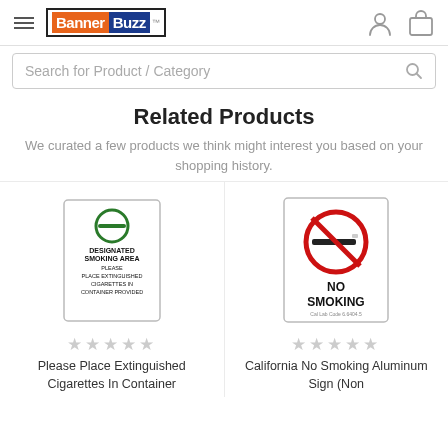BannerBuzz navigation bar with hamburger menu, logo, user icon, cart icon
Search for Product / Category
Related Products
We curated a few products we think might interest you based on your shopping history.
[Figure (illustration): Designated Smoking Area sign — white rectangular sign with green circle containing a horizontal dash, text: DESIGNATED SMOKING AREA PLEASE PLACE EXTINGUISHED CIGARETTES IN CONTAINER PROVIDED]
[Figure (illustration): No Smoking aluminum sign — white rectangular sign with red circle-slash over a cigarette icon, text: NO SMOKING, Cal Lab Code 6.6404.5]
★★★★★
★★★★★
Please Place Extinguished Cigarettes In Container
California No Smoking Aluminum Sign (Non